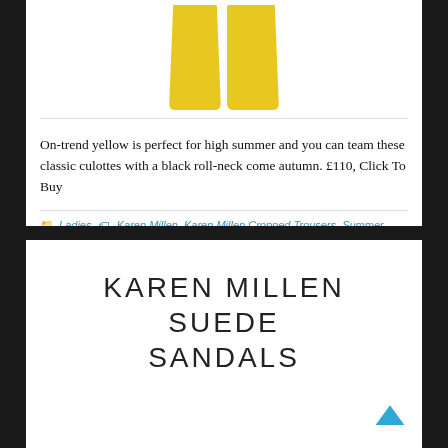[Figure (photo): Yellow culottes / wide-leg cropped trousers on white background, showing two pant legs in bright yellow]
On-trend yellow is perfect for high summer and you can team these classic culottes with a black roll-neck come autumn. £110, Click To Buy
Ladies  Karen Millen, Karen Millen Cropped Trousers, Summer, Trousers, Yellow, Yellow Culottes, Yellow Trousers
KAREN MILLEN SUEDE SANDALS